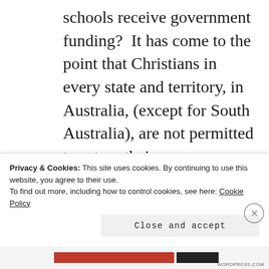schools receive government funding?  It has come to the point that Christians in every state and territory, in Australia, (except for South Australia), are not permitted to set up their own education facilities without them being registered by a government agency. The costs of setting up static, purpose-built schools is beyond the financial reach of most Christian parents, so state-funding is called
Privacy & Cookies: This site uses cookies. By continuing to use this website, you agree to their use.
To find out more, including how to control cookies, see here: Cookie Policy
Close and accept